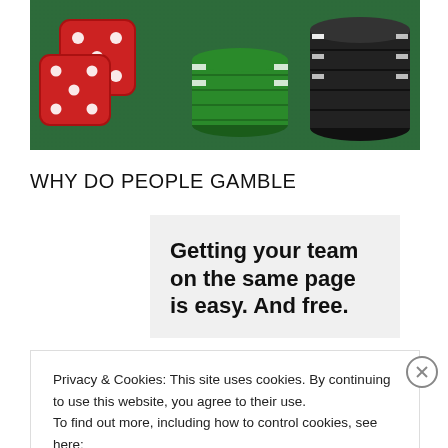[Figure (photo): Photo of red dice and green and black poker chips on a green felt surface]
WHY DO PEOPLE GAMBLE
Getting your team on the same page is easy. And free.
Privacy & Cookies: This site uses cookies. By continuing to use this website, you agree to their use.
To find out more, including how to control cookies, see here:
Cookie Policy
Close and accept